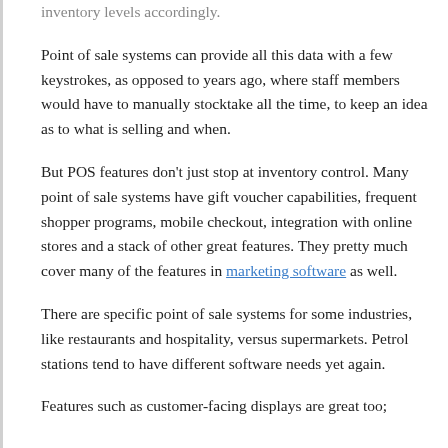inventory levels accordingly.
Point of sale systems can provide all this data with a few keystrokes, as opposed to years ago, where staff members would have to manually stocktake all the time, to keep an idea as to what is selling and when.
But POS features don't just stop at inventory control. Many point of sale systems have gift voucher capabilities, frequent shopper programs, mobile checkout, integration with online stores and a stack of other great features. They pretty much cover many of the features in marketing software as well.
There are specific point of sale systems for some industries, like restaurants and hospitality, versus supermarkets. Petrol stations tend to have different software needs yet again.
Features such as customer-facing displays are great too;